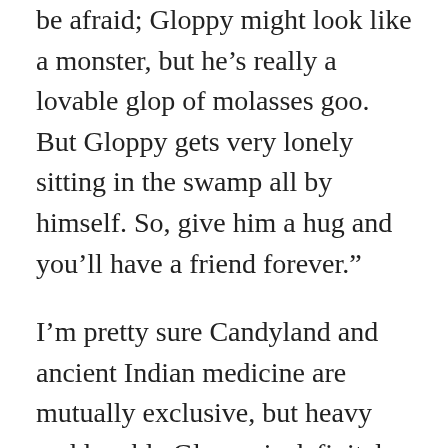be afraid; Gloppy might look like a monster, but he’s really a lovable glop of molasses goo. But Gloppy gets very lonely sitting in the swamp all by himself. So, give him a hug and you’ll have a friend forever.”
I’m pretty sure Candyland and ancient Indian medicine are mutually exclusive, but heavy and lovable Gloppy is definitely Kapha predominant. No offense to ancient Sanskrit, but saying “Gloppy” is way more fun. And now I say it A LOT. Especially around six o’clock.
*****
Me: It’s Gloppy time! Kapha is 6-10 AM and PM, Pitta is 10-2 AM and PM, and Vata is 2-6 AM and